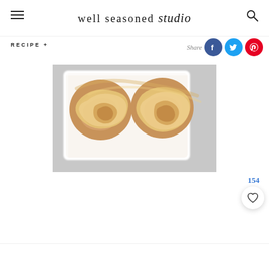well seasoned studio
RECIPE +
Share
[Figure (photo): Overhead close-up of cinnamon rolls with caramel/brown sugar frosting in a white rectangular baking dish, on a gray stone surface]
154